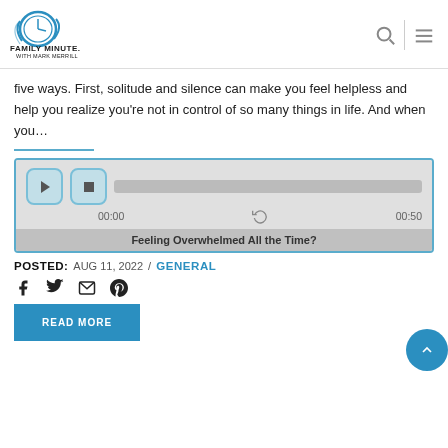[Figure (logo): Family Minute with Mark Merrill logo — circular clock face with swoosh graphic, text FAMILY MINUTE. WITH MARK MERRILL]
five ways. First, solitude and silence can make you feel helpless and help you realize you're not in control of so many things in life. And when you…
[Figure (other): Audio player widget showing play/stop buttons, progress bar, timestamps 00:00 and 00:50, and title 'Feeling Overwhelmed All the Time?']
POSTED: AUG 11, 2022 / GENERAL
[Figure (infographic): Social share icons: Facebook, Twitter, Email, Pinterest]
READ MORE